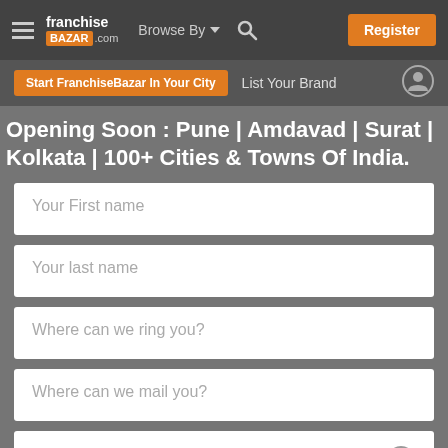[Figure (screenshot): FranchiseBazar.com website header navigation bar with hamburger menu, logo, Browse By dropdown, search icon, and orange Register button]
[Figure (screenshot): Sub-navigation bar with orange 'Start FranchiseBazar In Your City' button, 'List Your Brand' text, and user profile icon]
Opening Soon : Pune | Amdavad | Surat | Kolkata | 100+ Cities & Towns Of India.
Your First name
Your last name
Where can we ring you?
Where can we mail you?
Who you are?